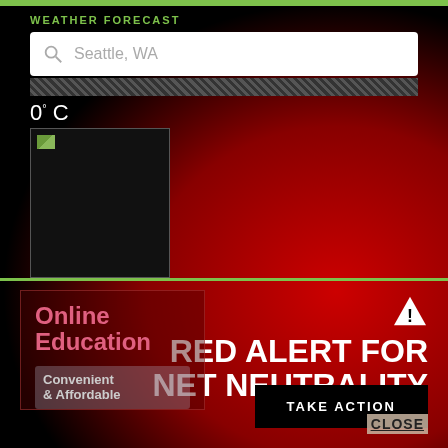WEATHER FORECAST
Seattle, WA
0° C
[Figure (screenshot): Weather icon placeholder image (broken image icon) in a black box]
[Figure (infographic): Red Alert for Net Neutrality overlay with warning triangle, bold white text, and a Take Action button]
RED ALERT FOR NET NEUTRALITY
TAKE ACTION
Online Education
Convenient & Affordable
CLOSE